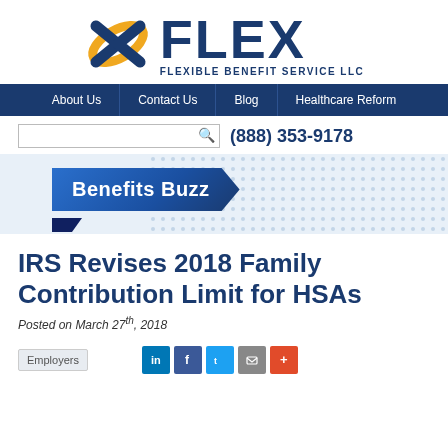[Figure (logo): Flex Flexible Benefit Service LLC logo with blue and gold X symbol and FLEX text]
About Us | Contact Us | Blog | Healthcare Reform
(888) 353-9178
[Figure (illustration): Benefits Buzz banner ribbon on dotted blue background]
IRS Revises 2018 Family Contribution Limit for HSAs
Posted on March 27th, 2018
Employers